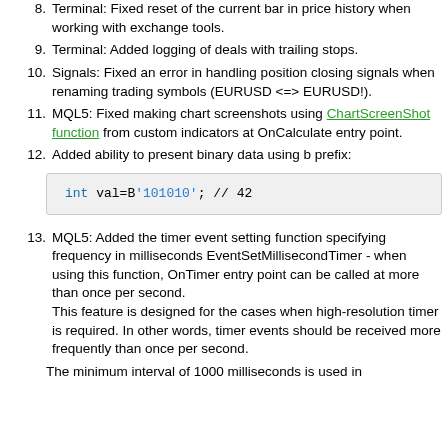Terminal: Fixed reset of the current bar in price history when working with exchange tools.
Terminal: Added logging of deals with trailing stops.
Signals: Fixed an error in handling position closing signals when renaming trading symbols (EURUSD <=> EURUSD!).
MQL5: Fixed making chart screenshots using ChartScreenShot function from custom indicators at OnCalculate entry point.
Added ability to present binary data using b prefix:
MQL5: Added the timer event setting function specifying frequency in milliseconds EventSetMillisecondTimer - when using this function, OnTimer entry point can be called at more than once per second.
This feature is designed for the cases when high-resolution timer is required. In other words, timer events should be received more frequently than once per second.
The minimum interval of 1000 milliseconds is used in